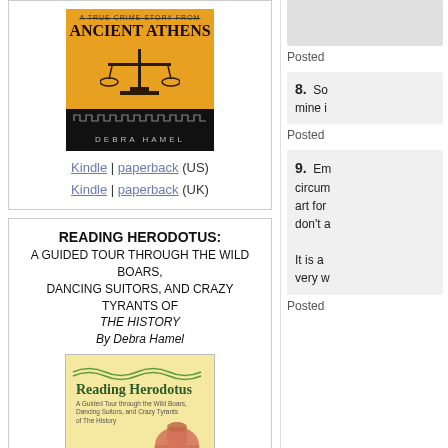[Figure (photo): Book cover of 'A True Crime Story from Ancient Athens' by Debra Hamel, with orange background and scales illustration]
Kindle | paperback (US)
Kindle | paperback (UK)
READING HERODOTUS:
A GUIDED TOUR THROUGH THE WILD BOARS, DANCING SUITORS, AND CRAZY TYRANTS OF THE HISTORY
By Debra Hamel
[Figure (photo): Book cover of 'Reading Herodotus: A Guided Tour through the Wild Boars, Dancing Suitors, and Crazy Tyrants of The History' by Debra Hamel]
8. So mine i
Posted
9. Em circum art for don't a

It is a very w
Posted